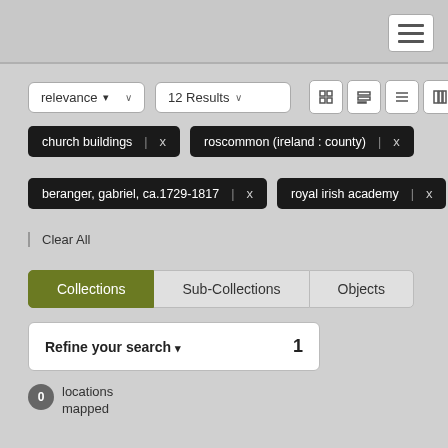[Figure (screenshot): Top navigation bar with hamburger menu icon (three horizontal lines) in top-right corner]
relevance ▾ ∨  |  12 Results ∨
church buildings | x
roscommon (ireland : county) | x
beranger, gabriel, ca.1729-1817 | x
royal irish academy | x
Clear All
Collections   Sub-Collections   Objects
Refine your search ▾   1
0 locations mapped